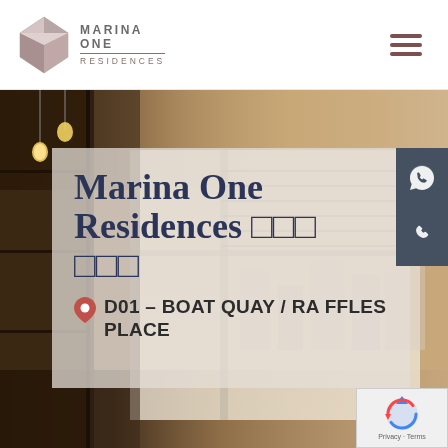[Figure (logo): Marina One Residences logo with diamond gem icon and brand name]
[Figure (photo): Interior photo of a luxury apartment showing shelving, hanging lights, and a bright window]
Marina One Residences □□□ □□□
D01 - BOAT QUAY / RAFFLES PLACE